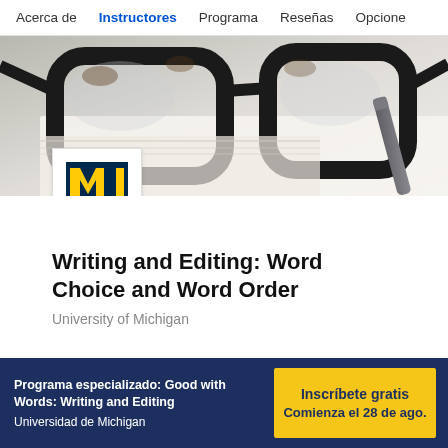Acerca de  Instructores  Programa  Reseñas  Opcione
[Figure (photo): Close-up photo of black-rimmed glasses and a pen resting on an open book/paper, with University of Michigan logo badge overlaid at bottom-left]
Writing and Editing: Word Choice and Word Order
University of Michigan
Programa especializado: Good with Words: Writing and Editing
Universidad de Michigan
Inscríbete gratis
Comienza el 28 de ago.